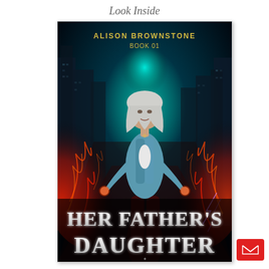Look Inside
[Figure (illustration): Book cover for 'Her Father's Daughter' by Alison Brownstone, Book 01. Shows a woman with silver/white hair wearing a light blue jacket standing in a dark city street. Dramatic red fire and lightning energy effects surround her on both sides. Teal/turquoise glowing light behind her head. Title text 'HER FATHER'S DAUGHTER' in large silver/white serif font at the bottom. Author name 'ALISON BROWNSTONE' and 'BOOK 01' in gold/yellow text at the top.]